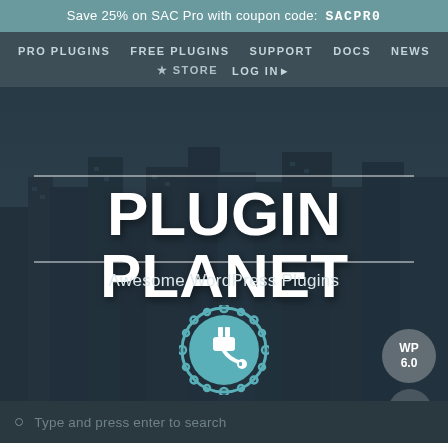Save 25% on SAC Pro with coupon code:  SACPR0
PRO PLUGINS   FREE PLUGINS   SUPPORT   DOCS   NEWS   ★ STORE   LOG IN ▶
[Figure (screenshot): Hero section with city skyline background showing 'PLUGIN PLANET' title text and 'Awesome WordPress Plugins' subtitle with plugin badge icon, WP 6.0 badge, and scroll-up button]
PLUGIN PLANET
Awesome WordPress Plugins
Type and press enter to search